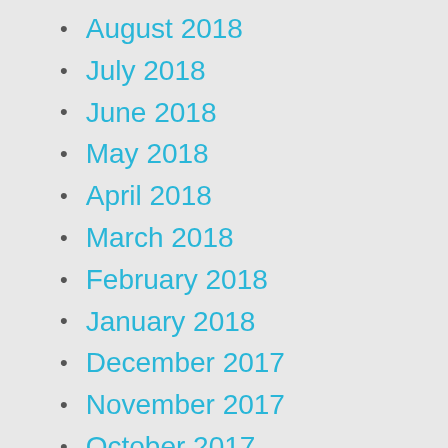August 2018
July 2018
June 2018
May 2018
April 2018
March 2018
February 2018
January 2018
December 2017
November 2017
October 2017
September 2017
August 2017
July 2017
June 2017
May 2017
April 2017
March 2017
February 2017
January 2017